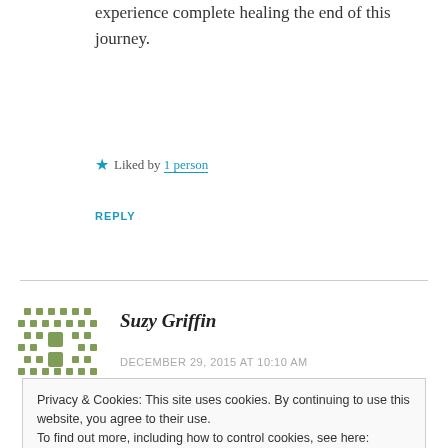experience complete healing the end of this journey.
★ Liked by 1 person
REPLY
Suzy Griffin
DECEMBER 29, 2015 AT 10:10 AM
Privacy & Cookies: This site uses cookies. By continuing to use this website, you agree to their use. To find out more, including how to control cookies, see here: Cookie Policy
Close and accept
times) as things get, I am glad you are